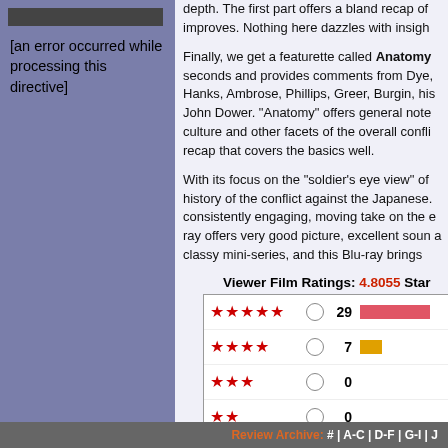[Figure (photo): Partially visible image at top of left panel]
[an error occurred while processing this directive]
depth. The first part offers a bland recap of improves. Nothing here dazzles with insigh
Finally, we get a featurette called Anatomy seconds and provides comments from Dye, Hanks, Ambrose, Phillips, Greer, Burgin, his John Dower. "Anatomy" offers general note culture and other facets of the overall confli recap that covers the basics well.
With its focus on the "soldier's eye view" of history of the conflict against the Japanese. consistently engaging, moving take on the e ray offers very good picture, excellent soun a classy mini-series, and this Blu-ray brings
Viewer Film Ratings: 4.8055 Star
| Stars | Radio | Count | Bar |
| --- | --- | --- | --- |
| ★★★★★ |  | 29 | bar-red |
| ★★★★ |  | 7 | bar-gold |
| ★★★ |  | 0 |  |
| ★★ |  | 0 |  |
| ★ |  | 0 |  |
Rate It!   View Averages fo
Review Archive: # | A-C | D-F | G-I | J